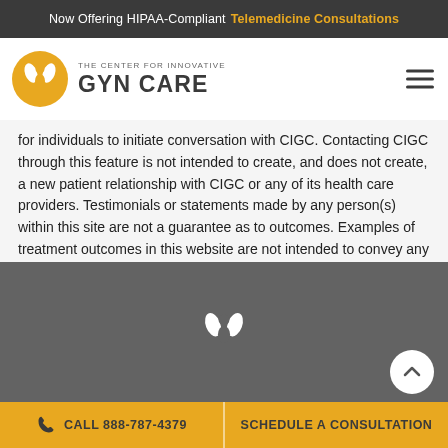Now Offering HIPAA-Compliant Telemedicine Consultations
[Figure (logo): The Center for Innovative GYN Care logo — yellow circular icon with two hands, text 'THE CENTER FOR INNOVATIVE GYN CARE']
for individuals to initiate conversation with CIGC. Contacting CIGC through this feature is not intended to create, and does not create, a new patient relationship with CIGC or any of its health care providers. Testimonials or statements made by any person(s) within this site are not a guarantee as to outcomes. Examples of treatment outcomes in this website are not intended to convey any warranty, either express or implied, as to outcomes, promises, or benefits from treatment. Every patient is treated on a case-by-case basis. The content of this site is not a substitute for medical advice, care, or evaluation by a medical professional.
[Figure (logo): White version of Center for Innovative GYN Care icon on dark gray footer background]
CALL 888-787-4379   SCHEDULE A CONSULTATION